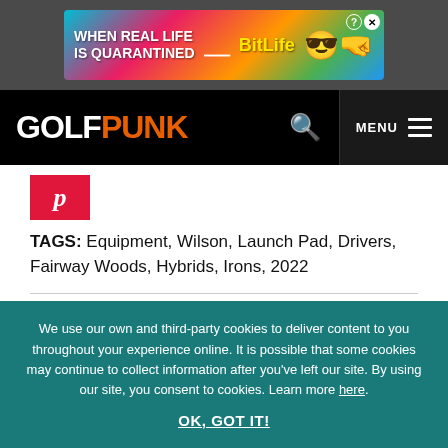[Figure (infographic): BitLife app advertisement banner with rainbow/colorful background, text 'WHEN REAL LIFE IS QUARANTINED' and 'BitLife' logo with star-eyes and masked emoji characters, close and help icons.]
GOLFPUNK
[Figure (logo): Pinterest red logo icon with letter P]
TAGS: Equipment, Wilson, Launch Pad, Drivers, Fairway Woods, Hybrids, Irons, 2022
And another thing
We use our own and third-party cookies to deliver content to you throughout your experience online. It is possible that some cookies may continue to collect information after you've left our site. By using our site, you consent to cookies. Learn more here.
OK, GOT IT!